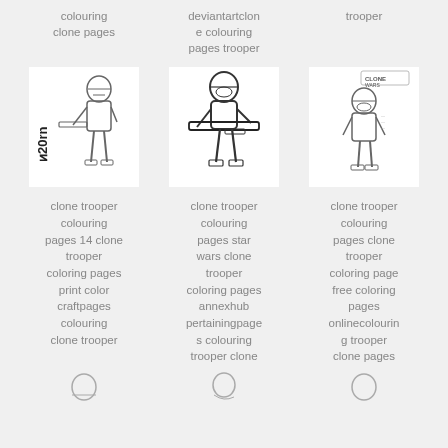colouring clone pages
deviantartclone colouring pages trooper
trooper
[Figure (illustration): Clone trooper coloring page with logo text, standing figure with weapon]
[Figure (illustration): Clone trooper coloring page star wars, figure holding weapon]
[Figure (illustration): Clone Wars clone trooper coloring page, standing figure front view]
clone trooper colouring pages 14 clone trooper coloring pages print color craftpages colouring clone trooper
clone trooper colouring pages star wars clone trooper coloring pages annexhub pertainingpages colouring trooper clone
clone trooper colouring pages clone trooper coloring page free coloring pages onlinecolouring trooper clone pages